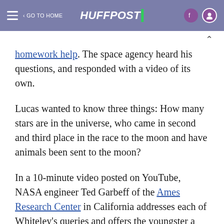HUFFPOST | GO TO HOME
homework help. The space agency heard his questions, and responded with a video of its own.
Lucas wanted to know three things: How many stars are in the universe, who came in second and third place in the race to the moon and have animals been sent to the moon?
In a 10-minute video posted on YouTube, NASA engineer Ted Garbeff of the Ames Research Center in California addresses each of Whiteley's queries and offers the youngster a tour of the facility.